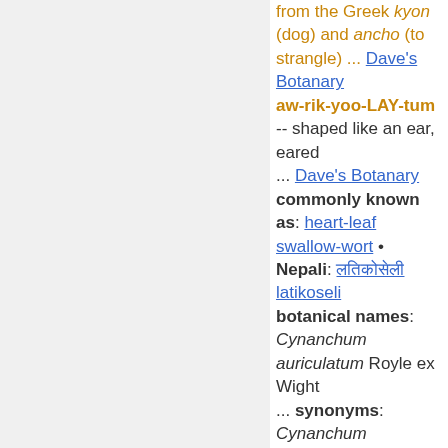from the Greek kyon (dog) and ancho (to strangle) ... Dave's Botanary aw-rik-yoo-LAY-tum -- shaped like an ear, eared ... Dave's Botanary commonly known as: heart-leaf swallow-wort • Nepali: लतिकोसेली latikoseli botanical names: Cynanchum auriculatum Royle ex Wight ... synonyms: Cynanchum saccatum W.T.Wang • Diploglossum auriculatum (Royle